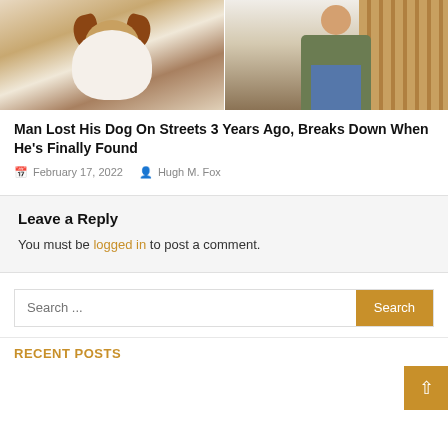[Figure (photo): Two photos side by side: left shows a dog (appears to be a border collie or similar breed) lying on a ground, right shows a person squatting near wooden shelving or furniture]
Man Lost His Dog On Streets 3 Years Ago, Breaks Down When He's Finally Found
February 17, 2022   Hugh M. Fox
Leave a Reply
You must be logged in to post a comment.
Search ...
RECENT POSTS